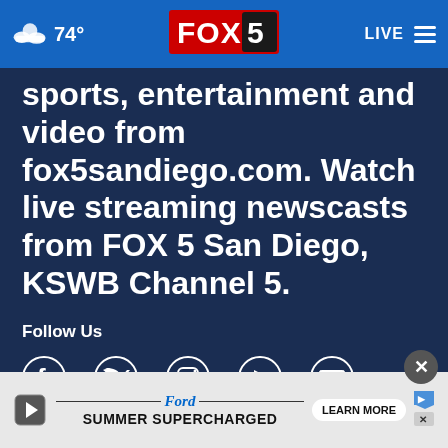74° FOX 5 LIVE
sports, entertainment and video from fox5sandiego.com. Watch live streaming newscasts from FOX 5 San Diego, KSWB Channel 5.
Follow Us
[Figure (illustration): Social media icons: Facebook, Twitter, Instagram, YouTube, Email]
News App
[Figure (screenshot): App Store and Google Play download buttons for the news app]
[Figure (infographic): Ford Summer Supercharged advertisement banner with Learn More button]